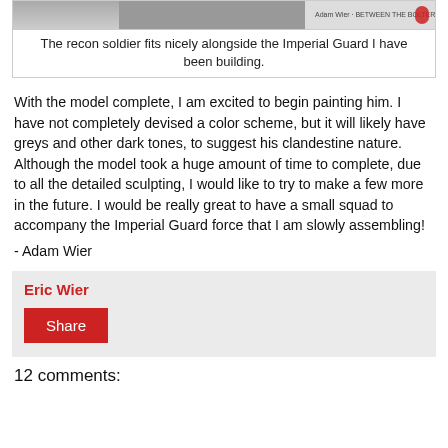[Figure (photo): Image of a recon soldier miniature alongside Imperial Guard models]
The recon soldier fits nicely alongside the Imperial Guard I have been building.
With the model complete, I am excited to begin painting him. I have not completely devised a color scheme, but it will likely have greys and other dark tones, to suggest his clandestine nature. Although the model took a huge amount of time to complete, due to all the detailed sculpting, I would like to try to make a few more in the future. I would be really great to have a small squad to accompany the Imperial Guard force that I am slowly assembling!
- Adam Wier
Eric Wier
Share
12 comments: